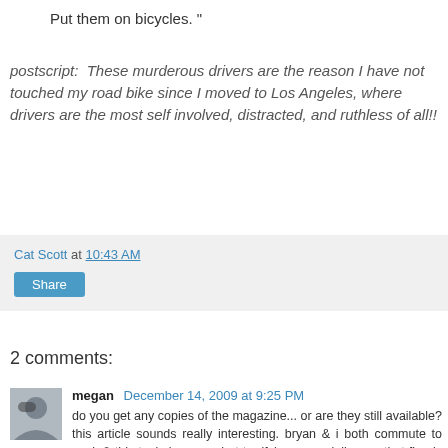Put them on bicycles. "
postscript:  These murderous drivers are the reason I have not touched my road bike since I moved to Los Angeles, where drivers are the most self involved, distracted, and ruthless of all!!
Cat Scott at 10:43 AM
Share
2 comments:
megan December 14, 2009 at 9:25 PM
do you get any copies of the magazine... or are they still available? this article sounds really interesting. bryan & i both commute to work & this topic is somewhat terrifying. especially now that finn is in the trailer with me!